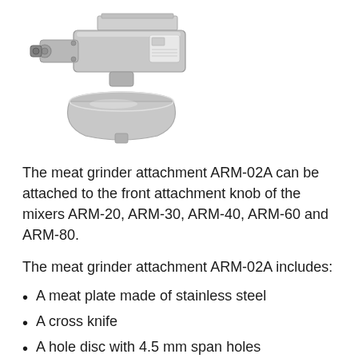[Figure (photo): A commercial meat grinder attachment ARM-02A mounted on a stand mixer, shown in silver/stainless steel finish with a feed tray on top and a mixing bowl below.]
The meat grinder attachment ARM-02A can be attached to the front attachment knob of the mixers ARM-20, ARM-30, ARM-40, ARM-60 and ARM-80.
The meat grinder attachment ARM-02A includes:
A meat plate made of stainless steel
A cross knife
A hole disc with 4.5 mm span holes